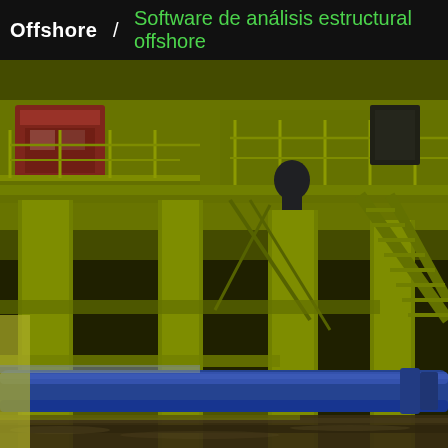Offshore / Software de análisis estructural offshore
[Figure (photo): Photograph of a yellow-painted offshore oil platform structure showing multi-level steel grating decks, handrails, stairs, structural columns, and a large blue horizontal pipe in the foreground. The platform sits above murky water.]